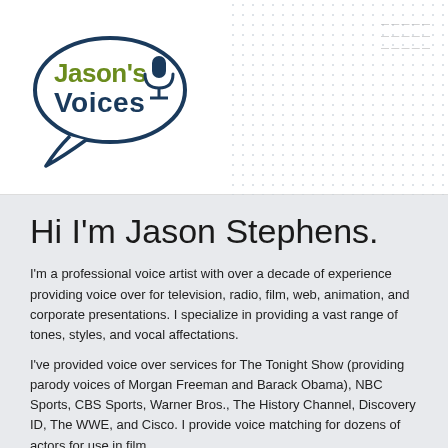[Figure (logo): Jason's Voices logo — speech bubble outline in dark teal/navy with 'Jason's' in olive green bold and 'Voices' in dark teal, with a microphone icon]
Hi I'm Jason Stephens.
I'm a professional voice artist with over a decade of experience providing voice over for television, radio, film, web, animation, and corporate presentations. I specialize in providing a vast range of tones, styles, and vocal affectations.
I've provided voice over services for The Tonight Show (providing parody voices of Morgan Freeman and Barack Obama), NBC Sports, CBS Sports, Warner Bros., The History Channel, Discovery ID, The WWE, and Cisco. I provide voice matching for dozens of actors for use in film